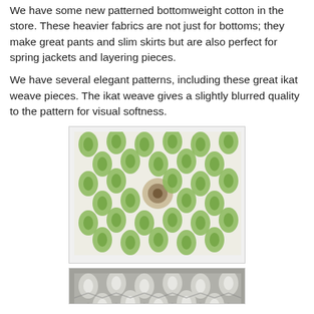We have some new patterned bottomweight cotton in the store. These heavier fabrics are not just for bottoms; they make great pants and slim skirts but are also perfect for spring jackets and layering pieces.
We have several elegant patterns, including these great ikat weave pieces. The ikat weave gives a slightly blurred quality to the pattern for visual softness.
[Figure (photo): Close-up photo of green and white ikat weave fabric with a swirled/twisted center, showing a leaf/peacock feather pattern with blurred edges characteristic of ikat weaving.]
[Figure (photo): Partial view of gray and white ikat weave fabric showing a similar leaf/peacock feather pattern in gray tones.]